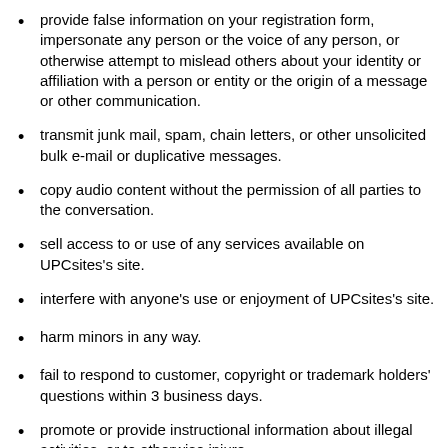provide false information on your registration form, impersonate any person or the voice of any person, or otherwise attempt to mislead others about your identity or affiliation with a person or entity or the origin of a message or other communication.
transmit junk mail, spam, chain letters, or other unsolicited bulk e-mail or duplicative messages.
copy audio content without the permission of all parties to the conversation.
sell access to or use of any services available on UPCsites's site.
interfere with anyone's use or enjoyment of UPCsites's site.
harm minors in any way.
fail to respond to customer, copyright or trademark holders' questions within 3 business days.
promote or provide instructional information about illegal activities, or to otherwise injure...